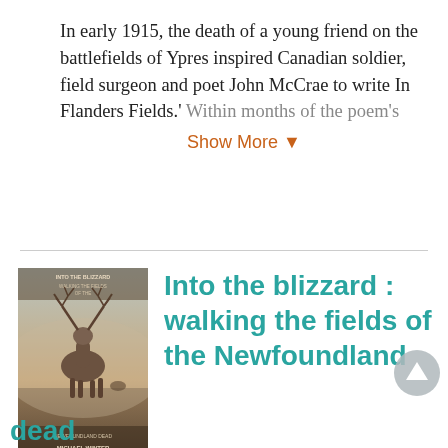In early 1915, the death of a young friend on the battlefields of Ypres inspired Canadian soldier, field surgeon and poet John McCrae to write In Flanders Fields.' Within months of the poem's
Show More ▼
[Figure (illustration): Book cover of 'Into the Blizzard: Walking the Fields of the Newfoundland Dead' by Michael Winter, featuring a stag/deer in a misty landscape]
Into the blizzard : walking the fields of the Newfoundland dead